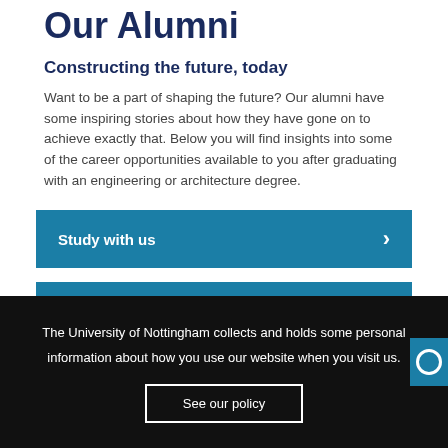Our Alumni
Constructing the future, today
Want to be a part of shaping the future? Our alumni have some inspiring stories about how they have gone on to achieve exactly that. Below you will find insights into some of the career opportunities available to you after graduating with an engineering or architecture degree.
Study with us
Bursaries and Scholarships
The University of Nottingham collects and holds some personal information about how you use our website when you visit us.
See our policy